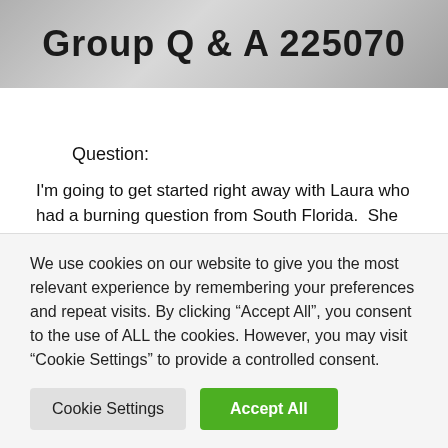Group Q & A 225070
Question:
I'm going to get started right away with Laura who had a burning question from South Florida.  She says she sent it several times.  So, I want to make sure that Laura knows that we got her question, and we are going to give her an answer.  She's the first one that gets an answer tonight.
She says, “My mother wants to give me a condo.  The
We use cookies on our website to give you the most relevant experience by remembering your preferences and repeat visits. By clicking “Accept All”, you consent to the use of ALL the cookies. However, you may visit “Cookie Settings” to provide a controlled consent.